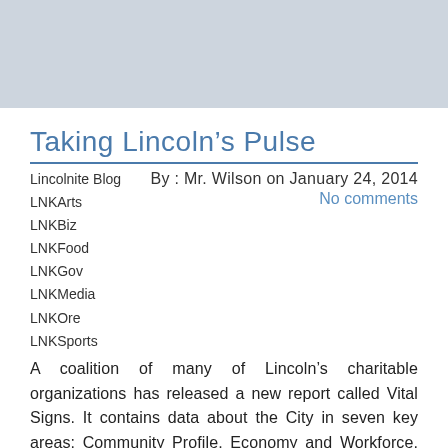[Figure (other): Light blue-grey header banner at top of page]
Taking Lincoln’s Pulse
Lincolnite Blog
LNKArts
LNKBiz
LNKFood
LNKGov
LNKMedia
LNKOre
LNKSports
By: Mr. Wilson on January 24, 2014
No comments
A coalition of many of Lincoln’s charitable organizations has released a new report called Vital Signs. It contains data about the City in seven key areas: Community Profile, Economy and Workforce, Basic Needs, Education, Health, Safety, and Community Involvement and Culture. The report was created to provide Lincolnites with key information that helps illustrate how Lincoln is doing well -- and how it isn’t. Understanding